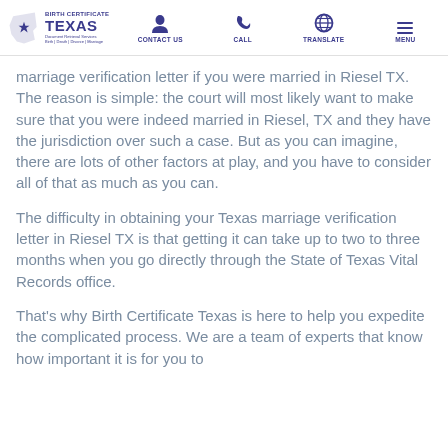BIRTH CERTIFICATE TEXAS | CONTACT US | CALL | TRANSLATE | MENU
marriage verification letter if you were married in Riesel TX. The reason is simple: the court will most likely want to make sure that you were indeed married in Riesel, TX and they have the jurisdiction over such a case. But as you can imagine, there are lots of other factors at play, and you have to consider all of that as much as you can.
The difficulty in obtaining your Texas marriage verification letter in Riesel TX is that getting it can take up to two to three months when you go directly through the State of Texas Vital Records office.
That's why Birth Certificate Texas is here to help you expedite the complicated process. We are a team of experts that know how important it is for you to